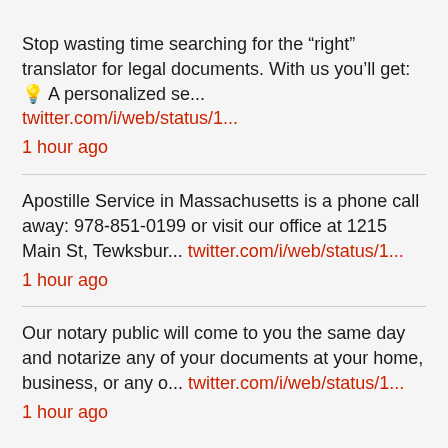Stop wasting time searching for the “right” translator for legal documents. With us you’ll get: 💡 A personalized se... twitter.com/i/web/status/1... 1 hour ago
Apostille Service in Massachusetts is a phone call away: 978-851-0199 or visit our office at 1215 Main St, Tewksbur... twitter.com/i/web/status/1... 1 hour ago
Our notary public will come to you the same day and notarize any of your documents at your home, business, or any o... twitter.com/i/web/status/1... 1 hour ago